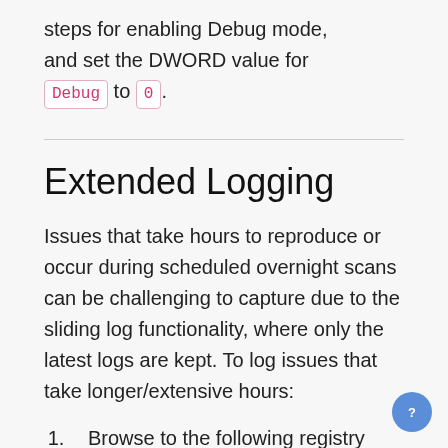steps for enabling Debug mode, and set the DWORD value for Debug to 0.
Extended Logging
Issues that take hours to reproduce or occur during scheduled overnight scans can be challenging to capture due to the sliding log functionality, where only the latest logs are kept. To log issues that take longer/extensive hours:
Browse to the following registry value using the Registry Editor